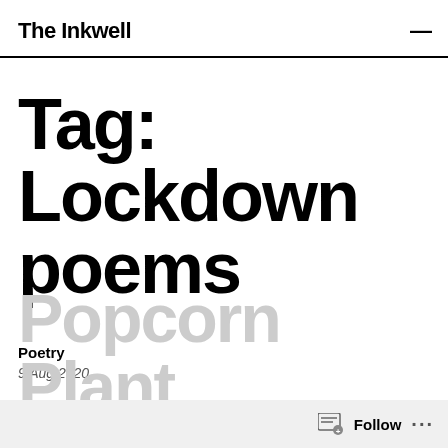The Inkwell
Tag: Lockdown poems
Poetry
9 Aug 2020
Popcorn Plant